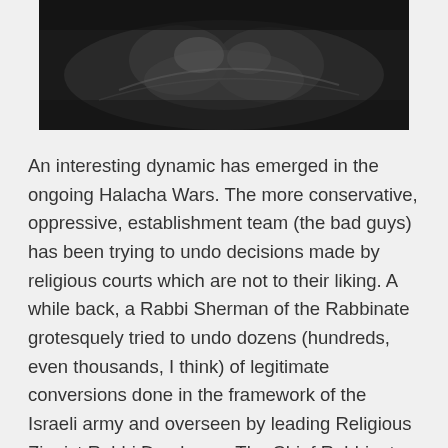[Figure (photo): A dark black and white photograph showing a dramatic scene, partially visible at the top of the page.]
An interesting dynamic has emerged in the ongoing Halacha Wars. The more conservative, oppressive, establishment team (the bad guys) has been trying to undo decisions made by religious courts which are not to their liking. A while back, a Rabbi Sherman of the Rabbinate grotesquely tried to undo dozens (hundreds, even thousands, I think) of legitimate conversions done in the framework of the Israeli army and overseen by leading Religious Zionist Rabbi Druckman. The Chief Rabbinate continues to reject, without any real cause, conversions done by well-